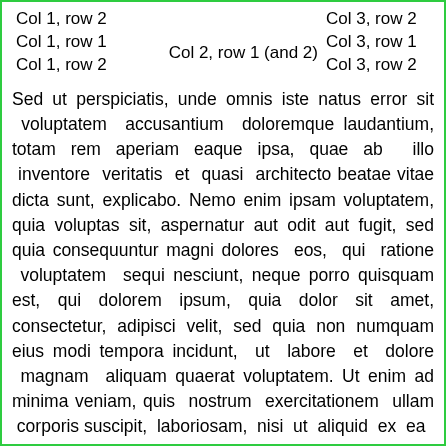| Col 1, row 2 |  | Col 3, row 2 |
| Col 1, row 1 | Col 2, row 1 (and 2) | Col 3, row 1 |
| Col 1, row 2 |  | Col 3, row 2 |
Sed ut perspiciatis, unde omnis iste natus error sit voluptatem accusantium doloremque laudantium, totam rem aperiam eaque ipsa, quae ab illo inventore veritatis et quasi architecto beatae vitae dicta sunt, explicabo. Nemo enim ipsam voluptatem, quia voluptas sit, aspernatur aut odit aut fugit, sed quia consequuntur magni dolores eos, qui ratione voluptatem sequi nesciunt, neque porro quisquam est, qui dolorem ipsum, quia dolor sit amet, consectetur, adipisci velit, sed quia non numquam eius modi tempora incidunt, ut labore et dolore magnam aliquam quaerat voluptatem. Ut enim ad minima veniam, quis nostrum exercitationem ullam corporis suscipit, laboriosam, nisi ut aliquid ex ea